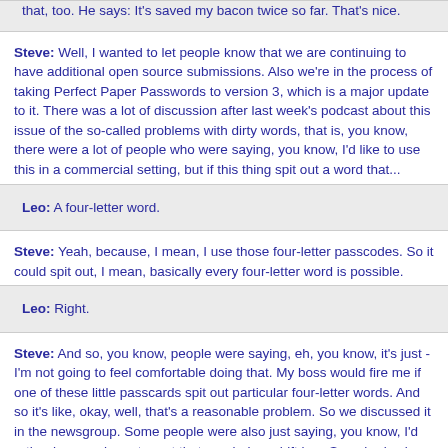that, too. He says: It's saved my bacon twice so far. That's nice.
Steve: Well, I wanted to let people know that we are continuing to have additional open source submissions. Also we're in the process of taking Perfect Paper Passwords to version 3, which is a major update to it. There was a lot of discussion after last week's podcast about this issue of the so-called problems with dirty words, that is, you know, there were a lot of people who were saying, you know, I'd like to use this in a commercial setting, but if this thing spit out a word that...
Leo: A four-letter word.
Steve: Yeah, because, I mean, I use those four-letter passcodes. So it could spit out, I mean, basically every four-letter word is possible.
Leo: Right.
Steve: And so, you know, people were saying, eh, you know, it's just - I'm not going to feel comfortable doing that. My boss would fire me if one of these little passcards spit out particular four-letter words. And so it's like, okay, well, that's a reasonable problem. So we discussed it in the newsgroup. Some people were also just saying, you know, I'd rather have a character set that needed no shift key. Somebody else said, you know, I like hex, and you don't have to worry about four-letter words with hex because...